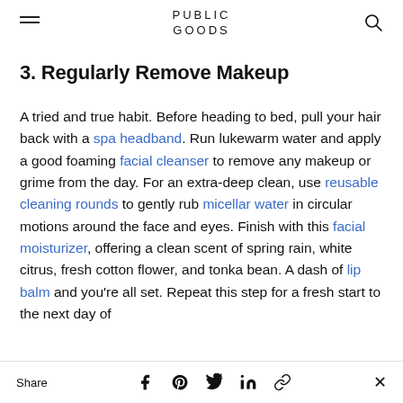PUBLIC GOODS
3. Regularly Remove Makeup
A tried and true habit. Before heading to bed, pull your hair back with a spa headband. Run lukewarm water and apply a good foaming facial cleanser to remove any makeup or grime from the day. For an extra-deep clean, use reusable cleaning rounds to gently rub micellar water in circular motions around the face and eyes. Finish with this facial moisturizer, offering a clean scent of spring rain, white citrus, fresh cotton flower, and tonka bean. A dash of lip balm and you’re all set. Repeat this step for a fresh start to the next day of
Share